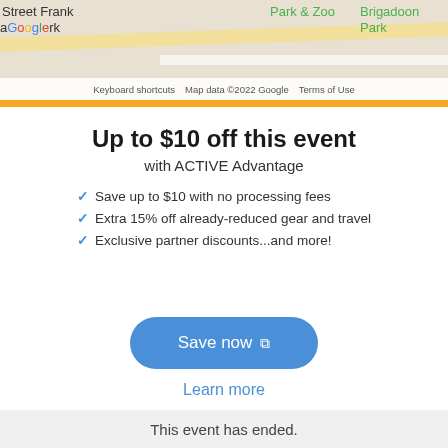[Figure (screenshot): Google Maps screenshot showing streets including Street Frank, Park & Zoo, Brigadoon Park, with Google logo watermark and map footer text]
Up to $10 off this event
with ACTIVE Advantage
Save up to $10 with no processing fees
Extra 15% off already-reduced gear and travel
Exclusive partner discounts...and more!
Save now
Learn more
This event has ended.